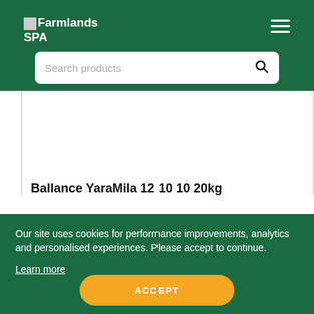Farmlands SPA
Search products
Ballance YaraMila 12 10 10 20kg
Our site uses cookies for performance improvements, analytics and personalised experiences. Please accept to continue.
Learn more
ACCEPT